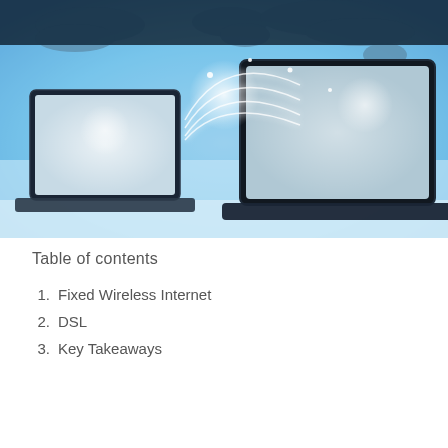[Figure (illustration): Blue-toned digital globe/world map background with two laptop computers facing each other, connected by glowing arcs of light, representing global wireless internet connectivity. Bright light flares at connection points.]
Table of contents
1.  Fixed Wireless Internet
2.  DSL
3.  Key Takeaways